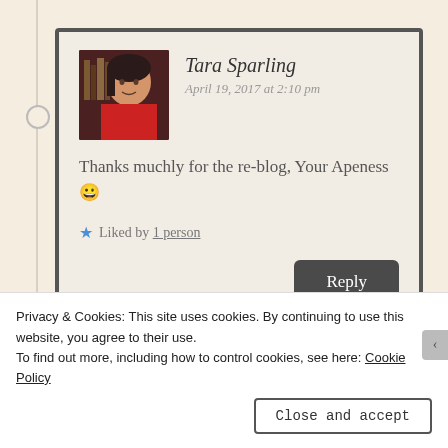Tara Sparling
April 19, 2017 at 2:10 pm
Thanks muchly for the re-blog, Your Apeness 😀
★ Liked by 1 person
Reply
The Stara Sparling A
Privacy & Cookies: This site uses cookies. By continuing to use this website, you agree to their use.
To find out more, including how to control cookies, see here: Cookie Policy
Close and accept